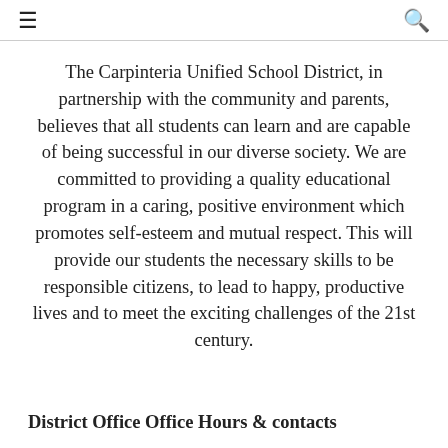≡  🔍
The Carpinteria Unified School District, in partnership with the community and parents, believes that all students can learn and are capable of being successful in our diverse society. We are committed to providing a quality educational program in a caring, positive environment which promotes self-esteem and mutual respect. This will provide our students the necessary skills to be responsible citizens, to lead to happy, productive lives and to meet the exciting challenges of the 21st century.
District Office Office Hours & contacts